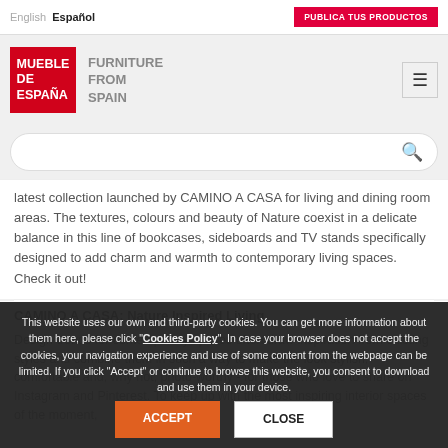English  Español  |  PUBLICA TUS PRODUCTOS
[Figure (logo): Mueble de España - Furniture From Spain logo with red square background]
[Search bar]
latest collection launched by CAMINO A CASA for living and dining room areas. The textures, colours and beauty of Nature coexist in a delicate balance in this line of bookcases, sideboards and TV stands specifically designed to add charm and warmth to contemporary living spaces. Check it out!
CAMINO A CASA: Nature-Inspired Living
Design trends for contemporary spaces often draw inspiration from existing styles and combine them in such a way to make the look stylish, comfortable and, why not, photo-worthy - for those who love to share on Instagram and Pinterest. To keep up with the most inspiring interior spaces of the moment,
This website uses our own and third-party cookies. You can get more information about them here, please click "Cookies Policy". In case your browser does not accept the cookies, your navigation experience and use of some content from the webpage can be limited. If you click "Accept" or continue to browse this website, you consent to download and use them in your device.
ACCEPT  CLOSE